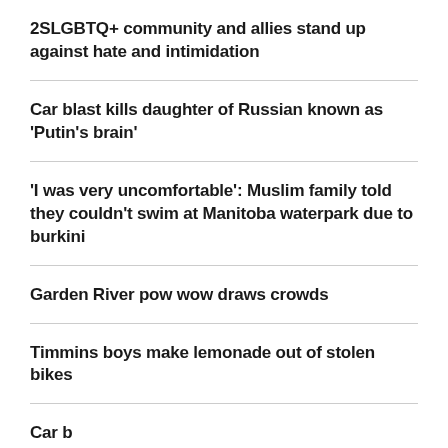2SLGBTQ+ community and allies stand up against hate and intimidation
Car blast kills daughter of Russian known as 'Putin's brain'
'I was very uncomfortable': Muslim family told they couldn't swim at Manitoba waterpark due to burkini
Garden River pow wow draws crowds
Timmins boys make lemonade out of stolen bikes
Car blast...